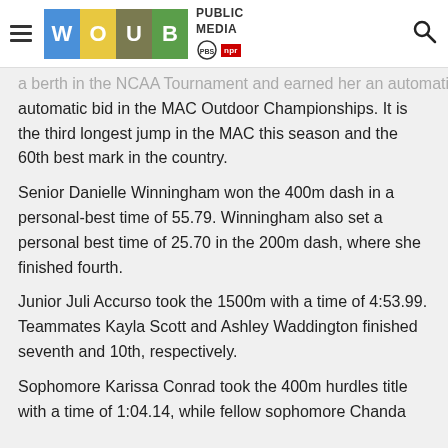WOUB PUBLIC MEDIA | PBS NPR
a berth in the NCAA Tournament and earned her an automatic bid in the MAC Outdoor Championships. It is the third longest jump in the MAC this season and the 60th best mark in the country.
Senior Danielle Winningham won the 400m dash in a personal-best time of 55.79. Winningham also set a personal best time of 25.70 in the 200m dash, where she finished fourth.
Junior Juli Accurso took the 1500m with a time of 4:53.99. Teammates Kayla Scott and Ashley Waddington finished seventh and 10th, respectively.
Sophomore Karissa Conrad took the 400m hurdles title with a time of 1:04.14, while fellow sophomore Chanda